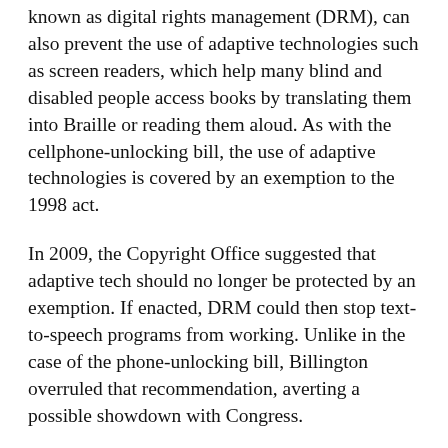known as digital rights management (DRM), can also prevent the use of adaptive technologies such as screen readers, which help many blind and disabled people access books by translating them into Braille or reading them aloud. As with the cellphone-unlocking bill, the use of adaptive technologies is covered by an exemption to the 1998 act.
In 2009, the Copyright Office suggested that adaptive tech should no longer be protected by an exemption. If enacted, DRM could then stop text-to-speech programs from working. Unlike in the case of the phone-unlocking bill, Billington overruled that recommendation, averting a possible showdown with Congress.
Mr. Schruers said this pointed to a need for more control over the Copyright Office's actions, which would require a leader more engaged with technology than Billington.
“Far too often it seems, there hasn’t been any oversight, where one might have thought it would be possible to